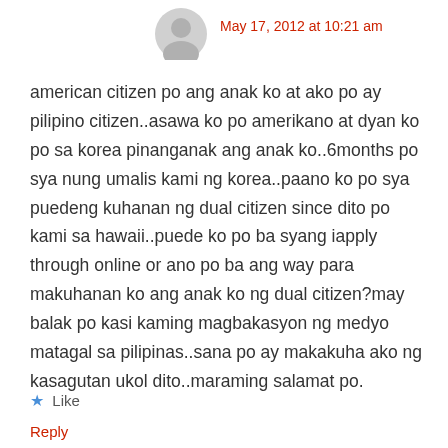[Figure (illustration): Grey user avatar silhouette icon]
May 17, 2012 at 10:21 am
american citizen po ang anak ko at ako po ay pilipino citizen..asawa ko po amerikano at dyan ko po sa korea pinanganak ang anak ko..6months po sya nung umalis kami ng korea..paano ko po sya puedeng kuhanan ng dual citizen since dito po kami sa hawaii..puede ko po ba syang iapply through online or ano po ba ang way para makuhanan ko ang anak ko ng dual citizen?may balak po kasi kaming magbakasyon ng medyo matagal sa pilipinas..sana po ay makakuha ako ng kasagutan ukol dito..maraming salamat po.
Like
Reply